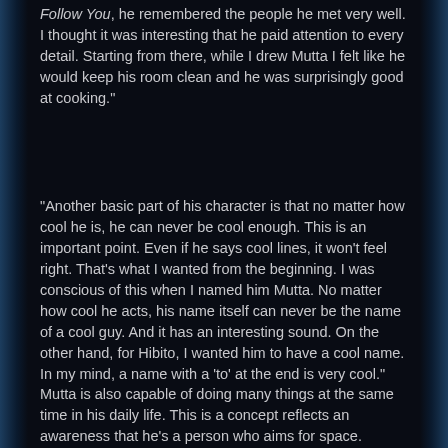Follow You, he remembered the people he met very well. I thought it was interesting that he paid attention to every detail. Starting from there, while I drew Mutta I felt like he would keep his room clean and he was surprisingly good at cooking.”
“Another basic part of his character is that no matter how cool he is, he can never be cool enough. This is an important point. Even if he says cool lines, it won’t feel right. That’s what I wanted from the beginning. I was conscious of this when I named him Mutta. No matter how cool he acts, his name itself can never be the name of a cool guy. And it has an interesting sound. On the other hand, for Hibito, I wanted him to have a cool name. In my mind, a name with a ‘to’ at the end is very cool.”
Mutta is also capable of doing many things at the same time in his daily life. This is a concept reflects an awareness that he’s a person who aims for space.